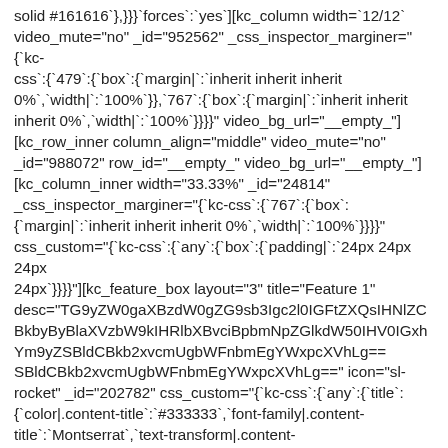solid #161616`},}}}`forces`:`yes`][kc_column width=`12/12` video_mute="no" _id="952562" _css_inspector_marginer="{`kc-css`:{`479`:{`box`:{`margin|`:`inherit inherit inherit 0%`,`width|`:`100%`}},`767`:{`box`:{`margin|`:`inherit inherit inherit 0%`,`width|`:`100%`}}}}" video_bg_url="__empty_"] [kc_row_inner column_align="middle" video_mute="no" _id="988072" row_id="__empty_" video_bg_url="__empty_"] [kc_column_inner width="33.33%" _id="24814" _css_inspector_marginer="{`kc-css`:{`767`:{`box`:{`margin|`:`inherit inherit inherit 0%`,`width|`:`100%`}}}}" css_custom="{`kc-css`:{`any`:{`box`:{`padding|`:`24px 24px 24px 24px`}}}}"][kc_feature_box layout="3" title="Feature 1" desc="TG9yZW0gaXBzdW0gZG9sb3Igc2l0IGFtZXQsIHNlZCBkbybyBlaXVzbW9kIHRlbXBvciBpbmNpZGlkdW50IHV0IGxhYm9yZSBldCBkb2xvcmUgbWFnbmEgYWxpcXVhLg==" icon="sl-rocket" _id="202782" css_custom="{`kc-css`:{`any`:{`title`:{`color|.content-title`:`#333333`,`font-family|.content-title`:`Montserrat`,`text-transform|.content-title`:`capitalize`,`margin|.content-title`:`inherit inherit 12px inherit`}}}